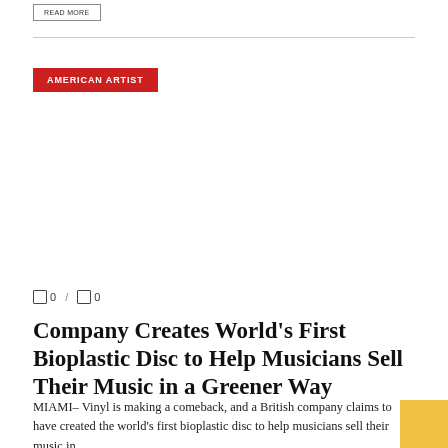READ MORE
AMERICAN ARTIST
0 / 0
Company Creates World’s First Bioplastic Disc to Help Musicians Sell Their Music in a Greener Way
MIAMI– Vinyl is making a comeback, and a British company claims to have created the world’s first bioplastic disc to help musicians sell their music in ...